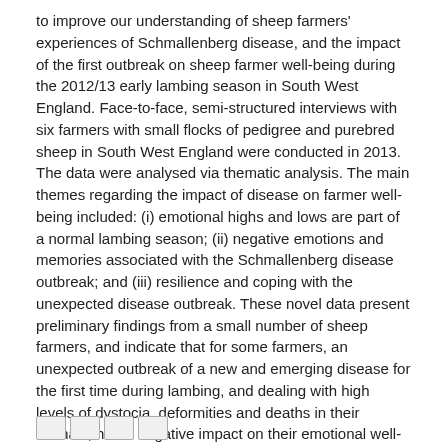to improve our understanding of sheep farmers' experiences of Schmallenberg disease, and the impact of the first outbreak on sheep farmer well-being during the 2012/13 early lambing season in South West England. Face-to-face, semi-structured interviews with six farmers with small flocks of pedigree and purebred sheep in South West England were conducted in 2013. The data were analysed via thematic analysis. The main themes regarding the impact of disease on farmer well-being included: (i) emotional highs and lows are part of a normal lambing season; (ii) negative emotions and memories associated with the Schmallenberg disease outbreak; and (iii) resilience and coping with the unexpected disease outbreak. These novel data present preliminary findings from a small number of sheep farmers, and indicate that for some farmers, an unexpected outbreak of a new and emerging disease for the first time during lambing, and dealing with high levels of dystocia, deformities and deaths in their animals, had a negative impact on their emotional well-being during the peak period of the sheep production cycle.
Tidsskrift
International Journal of Environmental Research and Public Health